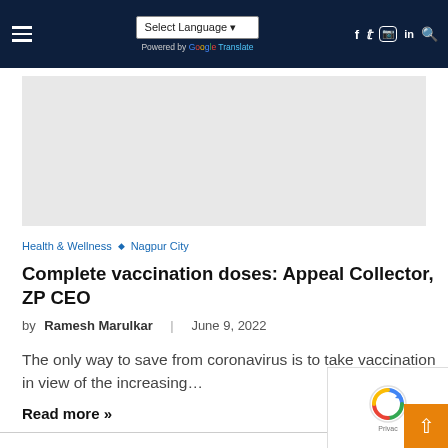Select Language | Health news website navigation bar with social icons
[Figure (other): Advertisement placeholder box (grey rectangle)]
Health & Wellness ◆ Nagpur City
Complete vaccination doses: Appeal Collector, ZP CEO
by Ramesh Marulkar | June 9, 2022
The only way to save from coronavirus is to take vaccination in view of the increasing…
Read more »